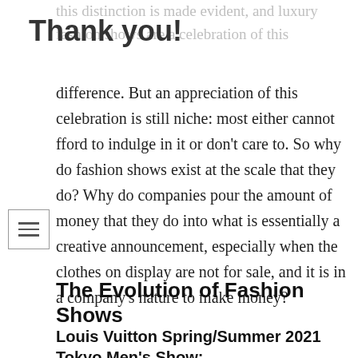Thank you!
this distinction is made evident, and luxury fashion shows are a celebration of this difference. But an appreciation of this celebration is still niche: most either cannot fford to indulge in it or don't care to. So why do fashion shows exist at the scale that they do? Why do companies pour the amount of money that they do into what is essentially a creative announcement, especially when the clothes on display are not for sale, and it is in a company's nature to make money?
The Evolution of Fashion Shows
Louis Vuitton Spring/Summer 2021 Tokyo Men's Show: